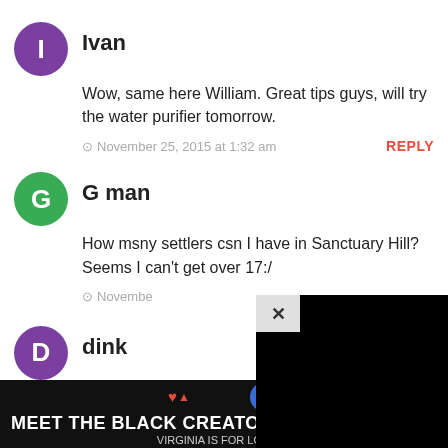Ivan
Wow, same here William. Great tips guys, will try the water purifier tomorrow.
November 25, 2015 at 1:32 am   REPLY
G man
How msny settlers csn I have in Sanctuary Hill? Seems I can't get over 17:/
November...
dink
it's ba...
charis...
[Figure (screenshot): Black video/ad overlay panel with X close button partially visible on right side]
[Figure (screenshot): Ad banner at bottom: 'MEET THE BLACK CREATORS WHO SHAPE VA' with 'VIRGINIA IS FOR LOVERS' subtitle, heart and spade icons, play button, close X]